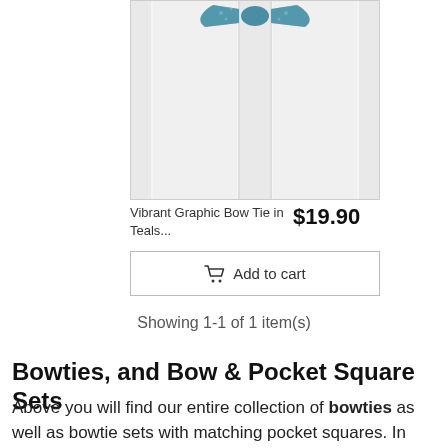[Figure (photo): Product photo of a teal/blue vibrant graphic bow tie displayed against a white door/background]
Vibrant Graphic Bow Tie in Teals...  $19.90
Add to cart
Showing 1-1 of 1 item(s)
Bowties, and Bow & Pocket Square Sets
Above you will find our entire collection of bowties as well as bowtie sets with matching pocket squares. In case you would like to match your own pocket silk to